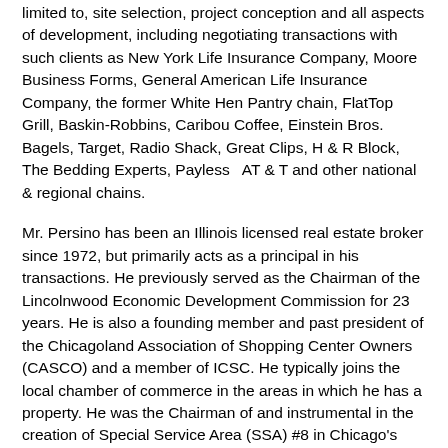limited to, site selection, project conception and all aspects of development, including negotiating transactions with such clients as New York Life Insurance Company, Moore Business Forms, General American Life Insurance Company, the former White Hen Pantry chain, FlatTop Grill, Baskin-Robbins, Caribou Coffee, Einstein Bros. Bagels, Target, Radio Shack, Great Clips, H & R Block, The Bedding Experts, Payless  AT & T and other national & regional chains.
Mr. Persino has been an Illinois licensed real estate broker since 1972, but primarily acts as a principal in his transactions. He previously served as the Chairman of the Lincolnwood Economic Development Commission for 23 years. He is also a founding member and past president of the Chicagoland Association of Shopping Center Owners (CASCO) and a member of ICSC. He typically joins the local chamber of commerce in the areas in which he has a property. He was the Chairman of and instrumental in the creation of Special Service Area (SSA) #8 in Chicago's Lake View East neighborhood where he redeveloped a full city block of street-front retail. He also worked on creating two other SSAs in Chicago and in Downers Grove, Illinois.